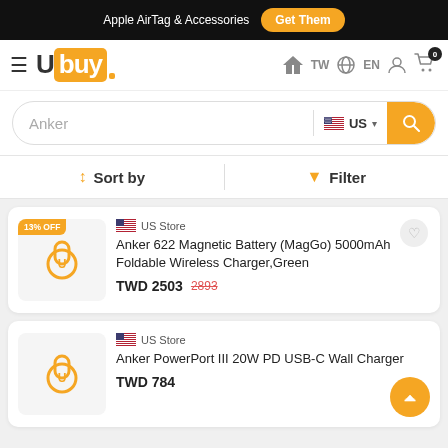Apple AirTag & Accessories  Get Them
[Figure (logo): Ubuy logo with hamburger menu and navigation icons (TW, EN, user, cart with badge 0)]
Anker (search input) US (country selector) search button
Sort by  |  Filter
[Figure (photo): Product card: Anker 622 Magnetic Battery (MagGo) 5000mAh Foldable Wireless Charger, Green. US Store. 13% OFF badge. Price TWD 2503, original 2893.]
[Figure (photo): Product card: Anker PowerPort III 20W PD USB-C Wall Charger. US Store. Price TWD 784.]